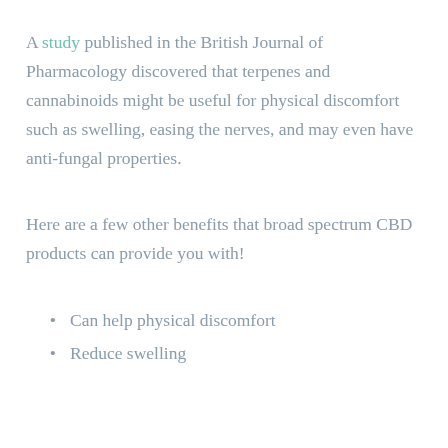A study published in the British Journal of Pharmacology discovered that terpenes and cannabinoids might be useful for physical discomfort such as swelling, easing the nerves, and may even have anti-fungal properties.
Here are a few other benefits that broad spectrum CBD products can provide you with!
Can help physical discomfort
Reduce swelling